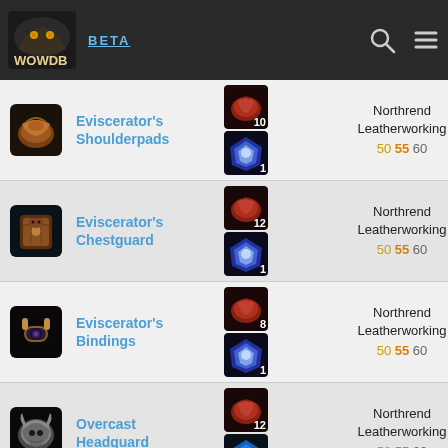WOWDB BETA
Eviscerator's Shoulderpads | Northrend Leatherworking | 50 55 60
Eviscerator's Chestguard | Northrend Leatherworking | 50 55 60
Eviscerator's Bindings | Northrend Leatherworking | 50 55 60
Overcast Headguard | Northrend Leatherworking | 50 55 60
Overcast Spaulders | Northrend Leatherworking | 50 55 60